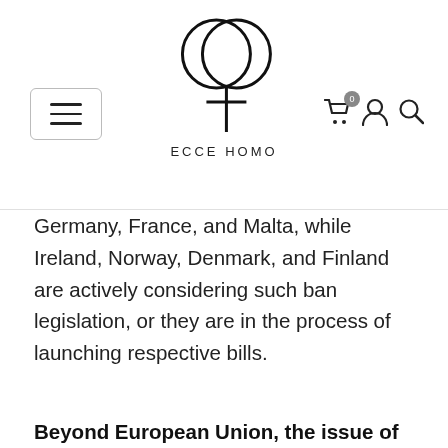ECCE HOMO — website header with logo and navigation
Germany, France, and Malta, while Ireland, Norway, Denmark, and Finland are actively considering such ban legislation, or they are in the process of launching respective bills.
Beyond European Union, the issue of conversion therapies has also received international attention.
Two years ago, UN expert on sexual orientation and gender identity, Victor Madrigal-Borloz, called for a